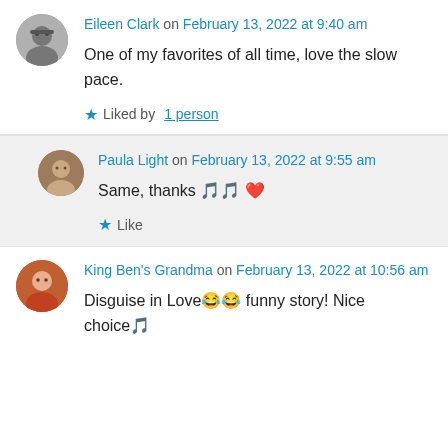Eileen Clark on February 13, 2022 at 9:40 am
One of my favorites of all time, love the slow pace.
Liked by 1 person
Paula Light on February 13, 2022 at 9:55 am
Same, thanks 🎵❤️
Like
King Ben's Grandma on February 13, 2022 at 10:56 am
Disguise in Love😂😂 funny story! Nice choice🎵